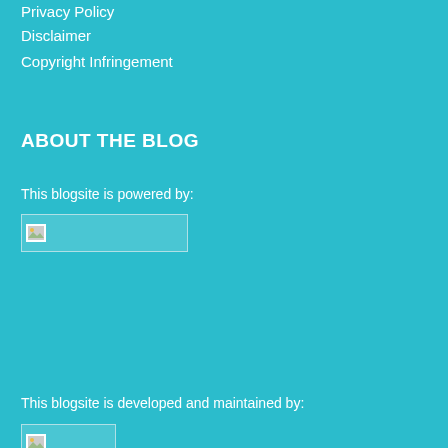Privacy Policy
Disclaimer
Copyright Infringement
ABOUT THE BLOG
This blogsite is powered by:
[Figure (other): Broken/missing image placeholder showing a small image icon]
This blogsite is developed and maintained by:
[Figure (other): Broken/missing image placeholder showing a small image icon]